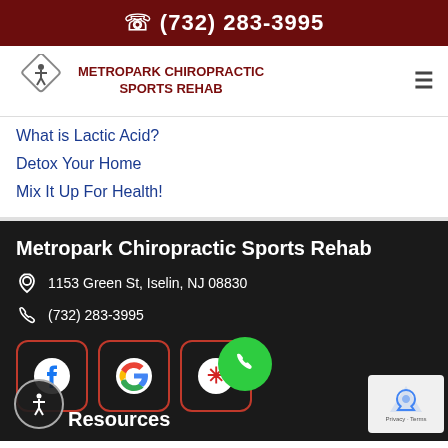(732) 283-3995
[Figure (logo): Metropark Chiropractic Sports Rehab logo with diamond shape and stick figure]
METROPARK CHIROPRACTIC SPORTS REHAB
What is Lactic Acid?
Detox Your Home
Mix It Up For Health!
Metropark Chiropractic Sports Rehab
1153 Green St, Iselin, NJ 08830
(732) 283-3995
[Figure (logo): Facebook icon button with red border]
[Figure (logo): Google icon button with red border]
[Figure (logo): Yelp icon button with red border]
Resources